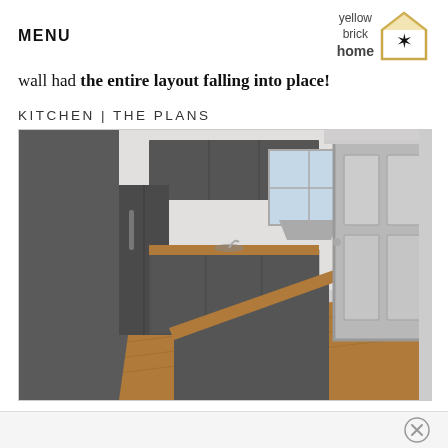MENU | yellow brick home logo
wall had the entire layout falling into place!
KITCHEN | THE PLANS
[Figure (illustration): 3D render of a kitchen plan showing dark grey cabinets with wood countertops, a kitchen island, hardwood floor, and a door with glass panels on the right side.]
Close button (X)